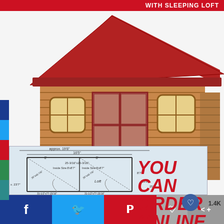WITH SLEEPING LOFT
[Figure (photo): Exterior photo of a wooden log cabin with red roof, large French doors in center, two arched windows on sides, front deck with railing, set against white background]
[Figure (engineering-diagram): Floor plan blueprint of cabin showing two rooms each 'Inside Size: 8'x8'7"', dimensions approx. 19'8" wide, 16'5" interior, 8' and 8' sections, 25-3/16"x25-3/16", 35"x46-7/8" diagonal measurements, Loft label, 8'7", 18'8", 25'3", 23'7" height dimensions, 31-1/2"x77-15/16" bottom dimensions]
YOU CAN ORDER ONLINE WITH
1.4K
f  t  p  ♡  share+